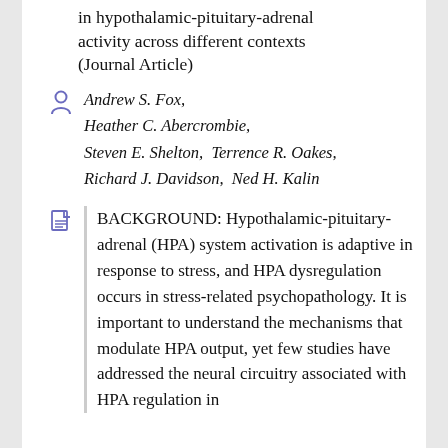in hypothalamic-pituitary-adrenal activity across different contexts (Journal Article)
Andrew S. Fox, Heather C. Abercrombie, Steven E. Shelton, Terrence R. Oakes, Richard J. Davidson, Ned H. Kalin
BACKGROUND: Hypothalamic-pituitary-adrenal (HPA) system activation is adaptive in response to stress, and HPA dysregulation occurs in stress-related psychopathology. It is important to understand the mechanisms that modulate HPA output, yet few studies have addressed the neural circuitry associated with HPA regulation in